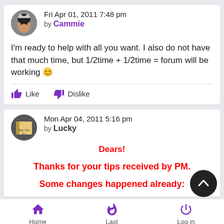Fri Apr 01, 2011 7:48 pm
by Cammie
I'm ready to help with all you want. I also do not have that much time, but 1/2time + 1/2time = forum will be working 😊
Like  Dislike
Mon Apr 04, 2011 5:16 pm
by Lucky
Dears!
Thanks for your tips received by PM.
Some changes happened already:
Home  Last  Log in